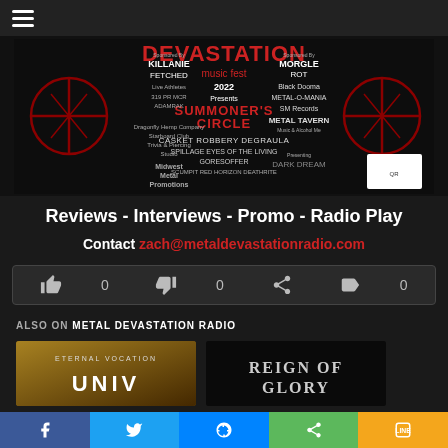Metal Devastation Radio - hamburger menu
[Figure (photo): Devastation Music Fest 2022 event banner featuring band names and sponsor logos including Morgle Rot, Black Dooma, Metal-O-Mania, Metal Tavern, Casket Robbery, Spillage, Eyes of the Dying, Goresoffer, and others with decorative metal cross logos on each side and a QR code]
Reviews - Interviews - Promo - Radio Play
Contact zach@metaldevastationradio.com
[Figure (infographic): Interaction bar with thumbs up (0), thumbs down (0), share icon, and tag/bookmark icon (0)]
ALSO ON METAL DEVASTATION RADIO
[Figure (photo): Thumbnail image: Eternal Vocation album art with stylized text]
[Figure (photo): Thumbnail image: Reign of Glory album cover with serif text on dark background]
Share buttons: Facebook, Twitter, Messenger, Share, Line